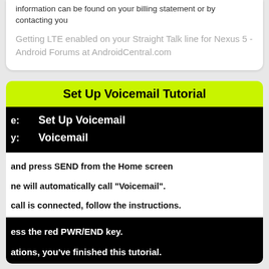information can be found on your billing statement or by contacting you
Getting LTE enabled on your Straight Talk line for Nexus 5 - Android Forums at AndroidCentral.com
Set Up Voicemail Tutorial
e:   Set Up Voicemail
y:   Voicemail
and press SEND from the Home screen
ne will automatically call “Voicemail”.
call is connected, follow the instructions.
ess the red PWR/END key.
ations, you’ve finished this tutorial.